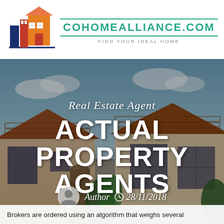[Figure (logo): Real estate logo with buildings and house icon in navy, red, and orange]
COHOMEALLIANCE.COM
FIND YOUR IDEAL HOME
[Figure (photo): Exterior photo of Spanish-style residential homes with beige stucco walls, terracotta roof tiles, and a blue sky with clouds]
Real Estate Agent
ACTUAL PROPERTY AGENTS
Author  28/11/2018
Brokers are ordered using an algorithm that weighs several